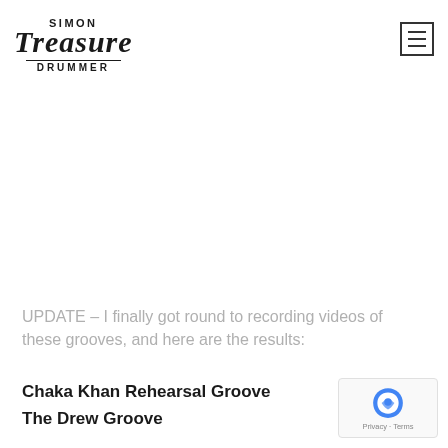SIMON Treasure DRUMMER
UPDATE – I finally got round to recording videos of these grooves, and here are the results:
Chaka Khan Rehearsal Groove
The Drew Groove